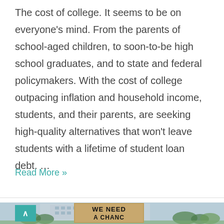The cost of college. It seems to be on everyone's mind. From the parents of school-aged children, to soon-to-be high school graduates, and to state and federal policymakers. With the cost of college outpacing inflation and household income, students, and their parents, are seeking high-quality alternatives that won't leave students with a lifetime of student loan debt. …
Read More »
[Figure (photo): A protest scene with a person holding a cardboard sign reading 'WE NEED A CHANCE', with a building and trees visible in the background. A teal/green scroll-to-top button is visible in the bottom-left corner.]